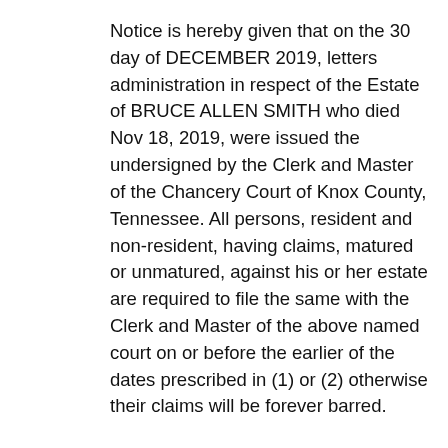Notice is hereby given that on the 30 day of DECEMBER 2019, letters administration in respect of the Estate of BRUCE ALLEN SMITH who died Nov 18, 2019, were issued the undersigned by the Clerk and Master of the Chancery Court of Knox County, Tennessee. All persons, resident and non-resident, having claims, matured or unmatured, against his or her estate are required to file the same with the Clerk and Master of the above named court on or before the earlier of the dates prescribed in (1) or (2) otherwise their claims will be forever barred.
(1)(A) Four (4) months from the date of the first publication of this notice if the creditor received an actual copy of this notice to creditors at least sixty (60) days before the date that is four (4) months from the date of this